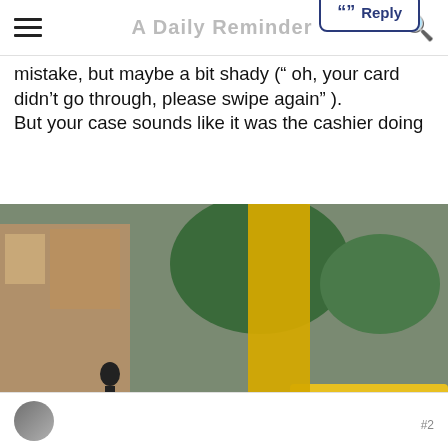[hamburger menu] [site title - faded] [search icon]
mistake, but maybe a bit shady (“ oh, your card didn’t go through, please swipe again” ).
But your case sounds like it was the cashier doing
[Figure (screenshot): Video thumbnail showing a street scene with a cyclist, a yellow-painted tree trunk, a bus, and cars on a Copenhagen street. A play button overlay appears in the center. Two orange caption bars read: 'Danes cycle a combined total of eight million kilometers' and '(5 million miles) per day and are one of the world's most bike-loving people']
What’s an “urban cyclist quest”?
”” Reply